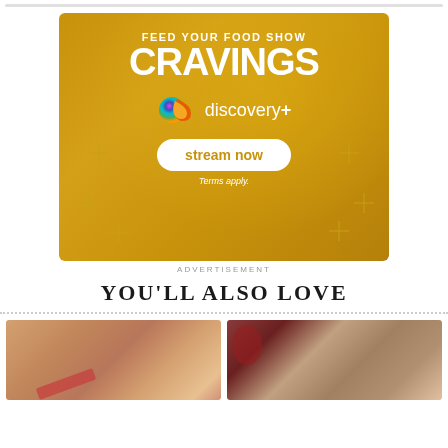[Figure (illustration): Discovery+ advertisement banner with golden background. Text reads 'FEED YOUR FOOD SHOW CRAVINGS' with Discovery+ logo and 'stream now' button. 'Terms apply.' text at bottom.]
ADVERTISEMENT
YOU'LL ALSO LOVE
[Figure (photo): Food photo showing a dish with shredded meat and red peppers on a white plate]
[Figure (photo): Food photo showing bowls with rice, meat dish and a red drink]